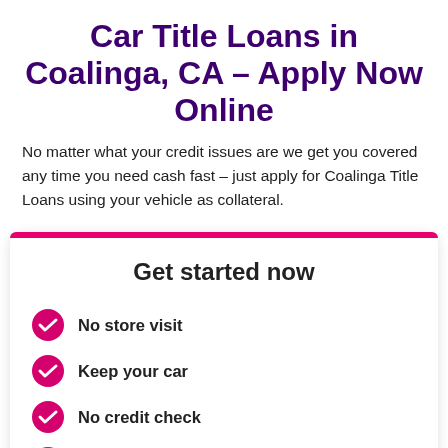Car Title Loans in Coalinga, CA – Apply Now Online
No matter what your credit issues are we get you covered any time you need cash fast – just apply for Coalinga Title Loans using your vehicle as collateral.
Get started now
No store visit
Keep your car
No credit check
Same day direct deposit